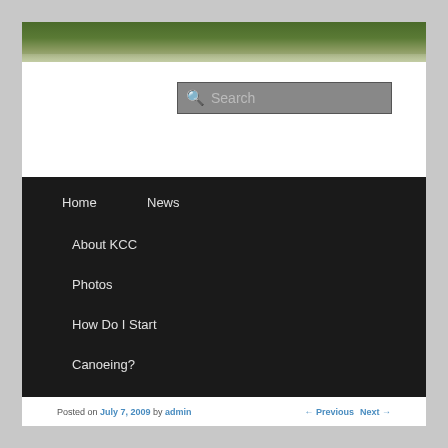[Figure (photo): Landscape photo banner showing green hills/mountains at the top of the page]
[Figure (screenshot): Search input box with magnifying glass icon and placeholder text 'Search']
Home
News
About KCC
Photos
How Do I Start
Canoeing?
Club policies
Posted on July 7, 2009 by admin ← Previous Next →